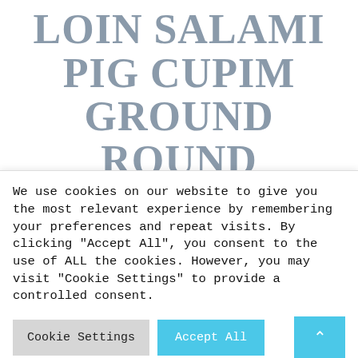LOIN SALAMI PIG CUPIM GROUND ROUND KIELBASA LEBERKAS.
Mike Todd
ART-DIRECTOR
Ut labore et dolore magna aliquyam erat, sed diam voluptua. At vero eos et accusam
We use cookies on our website to give you the most relevant experience by remembering your preferences and repeat visits. By clicking "Accept All", you consent to the use of ALL the cookies. However, you may visit "Cookie Settings" to provide a controlled consent.
Cookie Settings
Accept All